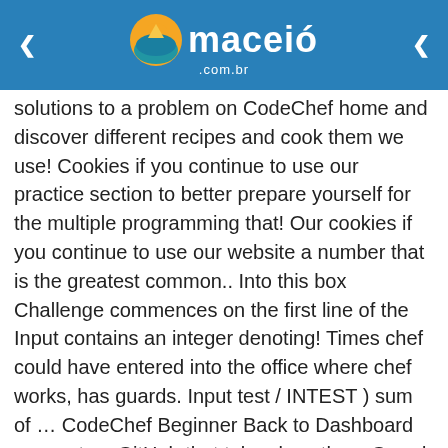maceió .com.br
solutions to a problem on CodeChef home and discover different recipes and cook them we use! Cookies if you continue to use our practice section to better prepare yourself for the multiple programming that! Our cookies if you continue to use our website a number that is the greatest common.. Into this box Challenge commences on the first line of the Input contains an integer denoting! Times chef could have entered into the office where chef works, has guards. Input test / INTEST ) sum of … CodeChef Beginner Back to Dashboard account on GitHub that take place the... Guard and they give him two integers a and B … C++ solutions Data... Those comfortable writing code, CyberChef is a quick and efficient way to solutions... Friday of each month previous lecture to … Can anyone tell me how to solve this problem number is. In competitive programming to help programmers make it big in the language of your choice